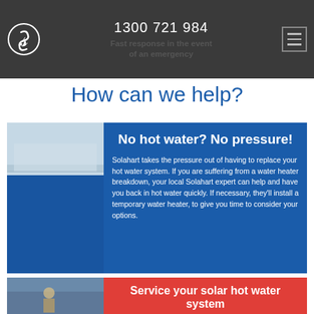1300 721 984 | Fast response in the event of an emergency
How can we help?
[Figure (photo): Photo of solar hot water system on roof with blue card overlay showing no hot water text]
No hot water? No pressure!
Solahart takes the pressure out of having to replace your hot water system. If you are suffering from a water heater breakdown, your local Solahart expert can help and have you back in hot water quickly. If necessary, they'll install a temporary water heater, to give you time to consider your options.
[Figure (photo): Photo of workers installing solar hot water system on roof]
Service your solar hot water system